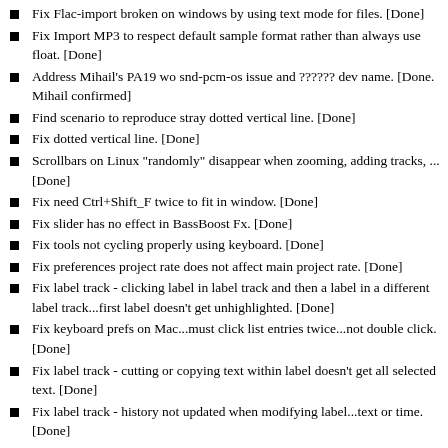Fix Flac-import broken on windows by using text mode for files. [Done]
Fix Import MP3 to respect default sample format rather than always use float. [Done]
Address Mihail's PA19 wo snd-pcm-os issue and ?????? dev name. [Done. Mihail confirmed]
Find scenario to reproduce stray dotted vertical line. [Done]
Fix dotted vertical line. [Done]
Scrollbars on Linux "randomly" disappear when zooming, adding tracks, ... [Done]
Fix need Ctrl+Shift_F twice to fit in window. [Done]
Fix slider has no effect in BassBoost Fx. [Done]
Fix tools not cycling properly using keyboard. [Done]
Fix preferences project rate does not affect main project rate. [Done]
Fix label track - clicking label in label track and then a label in a different label track...first label doesn't get unhighlighted. [Done]
Fix keyboard prefs on Mac...must click list entries twice...not double click. [Done]
Fix label track - cutting or copying text within label doesn't get all selected text. [Done]
Fix label track - history not updated when modifying label...text or time. [Done]
Address Mihail's dither issue. [Done]